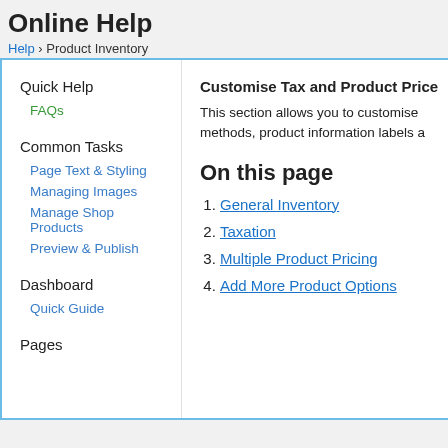Online Help
Help › Product Inventory
Quick Help
FAQs
Common Tasks
Page Text & Styling
Managing Images
Manage Shop Products
Preview & Publish
Dashboard
Quick Guide
Pages
Customise Tax and Product Price
This section allows you to customise methods, product information labels a
On this page
1. General Inventory
2. Taxation
3. Multiple Product Pricing
4. Add More Product Options